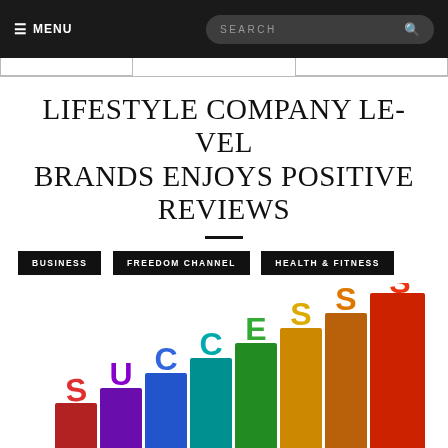≡ MENU   SEARCH
LIFESTYLE COMPANY LE-VEL BRANDS ENJOYS POSITIVE REVIEWS
BUSINESS
FREEDOM CHANNEL
HEALTH & FITNESS
[Figure (illustration): 3D colorful block letters spelling SUCCESS on rising pedestal blocks, with letters in red, purple, blue, teal, green, yellow, orange, and red colors]